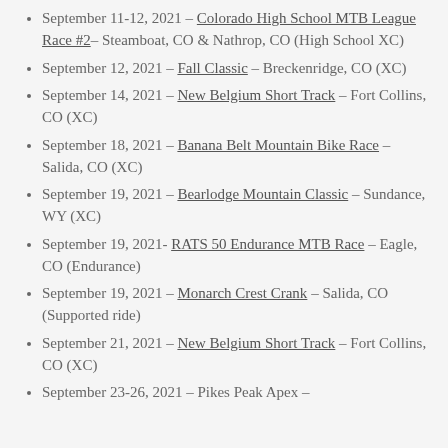September 11-12, 2021 – Colorado High School MTB League Race #2 – Steamboat, CO & Nathrop, CO (High School XC)
September 12, 2021 – Fall Classic – Breckenridge, CO (XC)
September 14, 2021 – New Belgium Short Track – Fort Collins, CO (XC)
September 18, 2021 – Banana Belt Mountain Bike Race – Salida, CO (XC)
September 19, 2021 – Bearlodge Mountain Classic – Sundance, WY (XC)
September 19, 2021- RATS 50 Endurance MTB Race – Eagle, CO (Endurance)
September 19, 2021 – Monarch Crest Crank – Salida, CO (Supported ride)
September 21, 2021 – New Belgium Short Track – Fort Collins, CO (XC)
September 23-26, 2021 – Pikes Peak Apex –